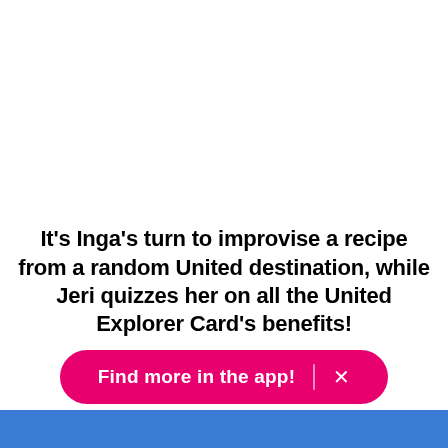It's Inga's turn to improvise a recipe from a random United destination, while Jeri quizzes her on all the United Explorer Card's benefits!
Find more in the app!  ×